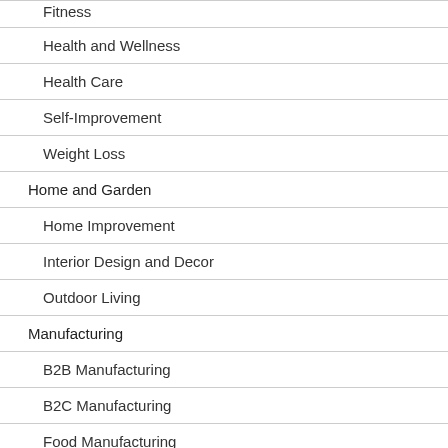Fitness
Health and Wellness
Health Care
Self-Improvement
Weight Loss
Home and Garden
Home Improvement
Interior Design and Decor
Outdoor Living
Manufacturing
B2B Manufacturing
B2C Manufacturing
Food Manufacturing
Misc